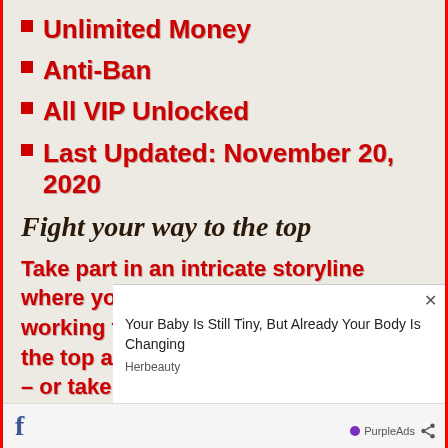Unlimited Money
Anti-Ban
All VIP Unlocked
Last Updated: November 20, 2020
Fight your way to the top
Take part in an intricate storyline where you're a professional boxer working for the mob. Fight your way to the top against all kinds of opponents – or take it to the street and unleash your fighting sk[ills]
Your Baby Is Still Tiny, But Already Your Body Is Changing
Herbeauty
PurpleAds